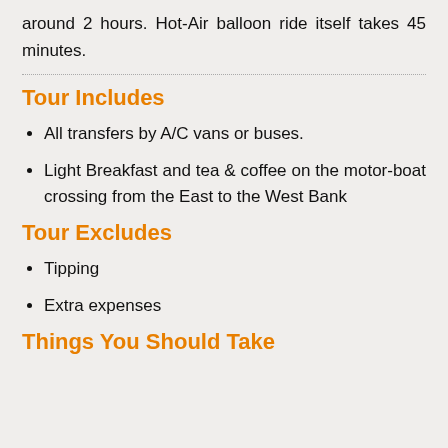around 2 hours. Hot-Air balloon ride itself takes 45 minutes.
Tour Includes
All transfers by A/C vans or buses.
Light Breakfast and tea & coffee on the motor-boat crossing from the East to the West Bank
Tour Excludes
Tipping
Extra expenses
Things You Should Take